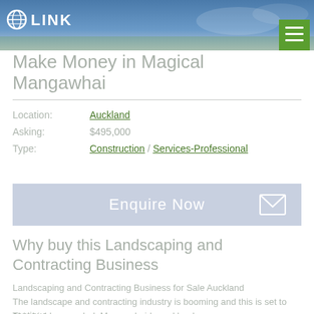[Figure (photo): Header banner with LINK business brokers logo and green menu button]
Make Money in Magical Mangawhai
| Location: | Auckland |
| Asking: | $495,000 |
| Type: | Construction / Services-Professional |
Enquire Now
Why buy this Landscaping and Contracting Business
Landscaping and Contracting Business for Sale Auckland
The landscape and contracting industry is booming and this is set to continue.
This highly regarded, Mangawhai-based landscap...